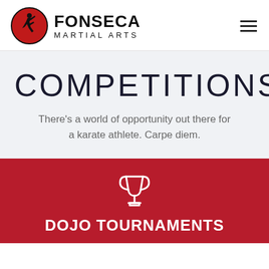Fonseca Martial Arts
COMPETITIONS
There’s a world of opportunity out there for a karate athlete. Carpe diem.
[Figure (illustration): Trophy icon, white outline, on red background]
Dojo Tournaments